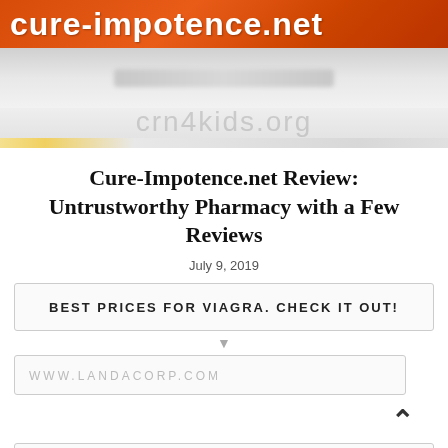[Figure (screenshot): Website header banner for cure-impotence.net with orange top bar and watermark crn4kids.org]
Cure-Impotence.net Review: Untrustworthy Pharmacy with a Few Reviews
July 9, 2019
BEST PRICES FOR VIAGRA. CHECK IT OUT!
WWW.LANDACORP.COM
POPULAR PHARMACY NAMES